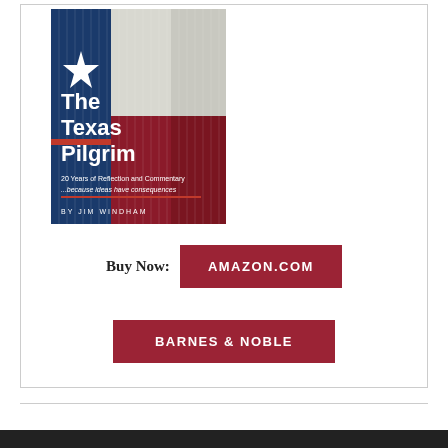[Figure (illustration): Book cover of 'The Texas Pilgrim' by Jim Windham. Cover features painted Texas flag colors (red, white, blue) with corrugated metal texture. White text reads: The Texas Pilgrim, 20 Years of Reflection and Commentary ...because ideas have consequences, BY JIM WINDHAM]
Buy Now:
AMAZON.COM
BARNES & NOBLE